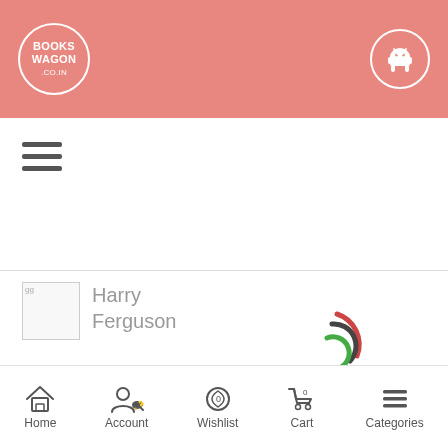BooksWagon - Android app header
[Figure (screenshot): BooksWagon mobile app screenshot showing hamburger menu, Harry Ferguson search result with loading spinner, product title, results count bar, and bottom navigation bar with Home, Account, Wishlist, Cart, Categories]
Harry Ferguson
Harry Ferguson
21 results found
Home | Account | Wishlist | Cart | Categories